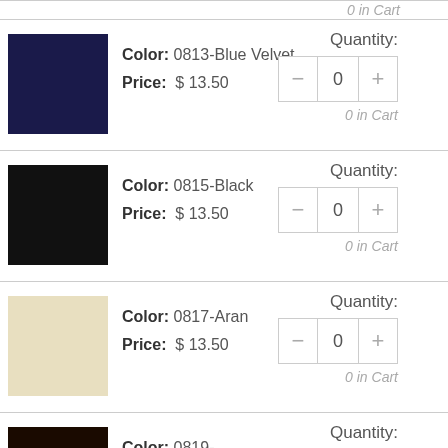0 in Cart
Color: 0813-Blue Velvet | Price: $ 13.50 | Quantity: 0 | 0 in Cart
Color: 0815-Black | Price: $ 13.50 | Quantity: 0 | 0 in Cart
Color: 0817-Aran | Price: $ 13.50 | Quantity: 0 | 0 in Cart
Color: 0819-Chocolate | Price: $ 13.50 | Quantity: